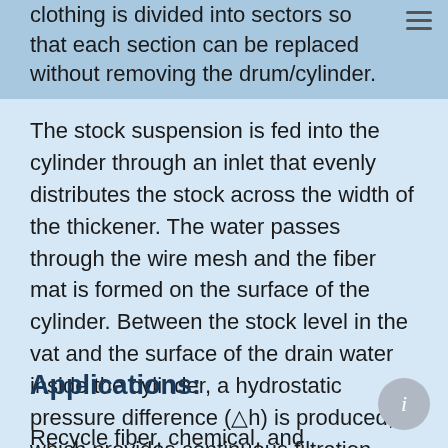clothing is divided into sectors so that each section can be replaced without removing the drum/cylinder.
The stock suspension is fed into the cylinder through an inlet that evenly distributes the stock across the width of the thickener. The water passes through the wire mesh and the fiber mat is formed on the surface of the cylinder. Between the stock level in the vat and the surface of the drain water inside the cylinder, a hydrostatic pressure difference (△h) is produced, which provides continuous filtration. The surface of the wire cloth is cleaned with a shower.
Applications:
Recycle fiber, chemical, and mechanical pulp